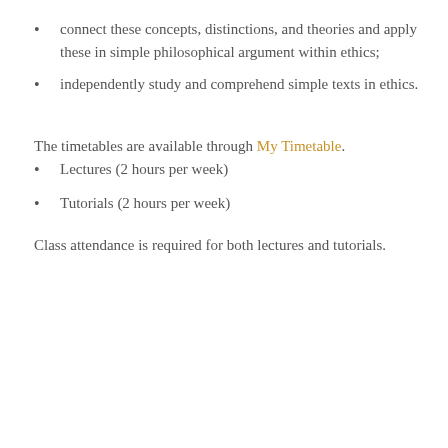connect these concepts, distinctions, and theories and apply these in simple philosophical argument within ethics;
independently study and comprehend simple texts in ethics.
The timetables are available through My Timetable.
Lectures (2 hours per week)
Tutorials (2 hours per week)
Class attendance is required for both lectures and tutorials.